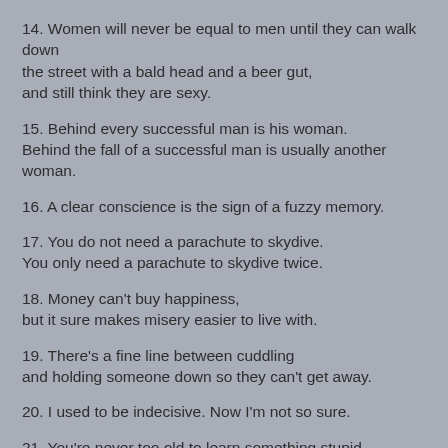14. Women will never be equal to men until they can walk down the street with a bald head and a beer gut, and still think they are sexy.
15. Behind every successful man is his woman. Behind the fall of a successful man is usually another woman.
16. A clear conscience is the sign of a fuzzy memory.
17. You do not need a parachute to skydive. You only need a parachute to skydive twice.
18. Money can't buy happiness, but it sure makes misery easier to live with.
19. There's a fine line between cuddling and holding someone down so they can't get away.
20. I used to be indecisive. Now I'm not so sure.
21. You're never too old to learn something stupid.